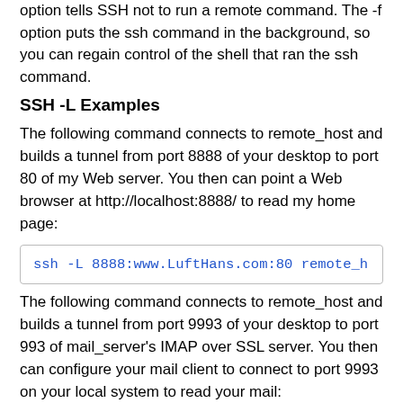option tells SSH not to run a remote command. The -f option puts the ssh command in the background, so you can regain control of the shell that ran the ssh command.
SSH -L Examples
The following command connects to remote_host and builds a tunnel from port 8888 of your desktop to port 80 of my Web server. You then can point a Web browser at http://localhost:8888/ to read my home page:
ssh -L 8888:www.LuftHans.com:80 remote_h
The following command connects to remote_host and builds a tunnel from port 9993 of your desktop to port 993 of mail_server's IMAP over SSL server. You then can configure your mail client to connect to port 9993 on your local system to read your mail: